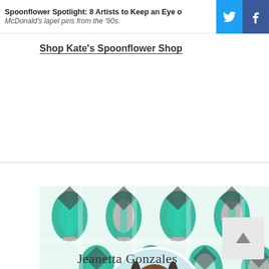Spoonflower Spotlight: 8 Artists to Keep an Eye on | McDonald's lapel pins from the '90s.
Shop Kate's Spoonflower Shop
[Figure (photo): Profile banner with colorful teal geometric/floral ikat pattern background and circular portrait photo of Jeanetta Gonzales, a smiling woman with braids wearing a floral outfit.]
Jeanetta Gonzales